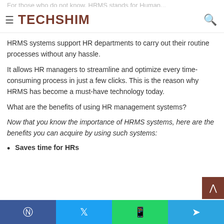TECHSHIM
For those who do not know, HRMS stands for Human...
HRMS systems support HR departments to carry out their routine processes without any hassle.
It allows HR managers to streamline and optimize every time-consuming process in just a few clicks. This is the reason why HRMS has become a must-have technology today.
What are the benefits of using HR management systems?
Now that you know the importance of HRMS systems, here are the benefits you can acquire by using such systems:
Saves time for HRs